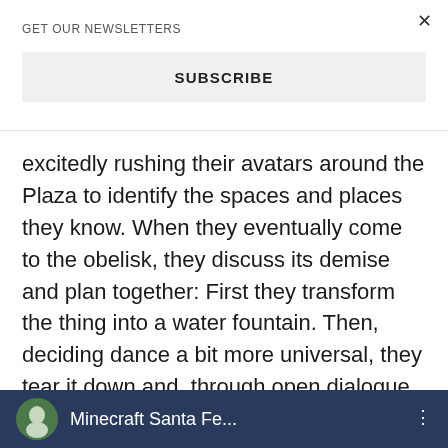GET OUR NEWSLETTERS
SUBSCRIBE
excitedly rushing their avatars around the Plaza to identify the spaces and places they know. When they eventually come to the obelisk, they discuss its demise and plan together: First they transform the thing into a water fountain. Then, deciding dance a bit more universal, they tear it down and, through open dialogue, choose to rebuild the site as a dance floor for breakers. And then they dance.
[Figure (screenshot): Bottom thumbnail image of a Minecraft Santa Fe video, showing a circular avatar icon on a dark blue background with partially visible text]